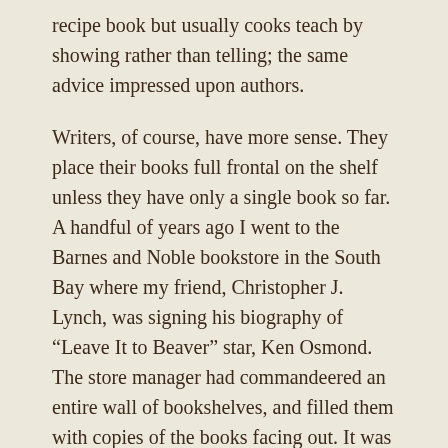recipe book but usually cooks teach by showing rather than telling; the same advice impressed upon authors.
Writers, of course, have more sense. They place their books full frontal on the shelf unless they have only a single book so far. A handful of years ago I went to the Barnes and Noble bookstore in the South Bay where my friend, Christopher J. Lynch, was signing his biography of “Leave It to Beaver” star, Ken Osmond. The store manager had commandeered an entire wall of bookshelves, and filled them with copies of the books facing out. It was a stunning display for an author.